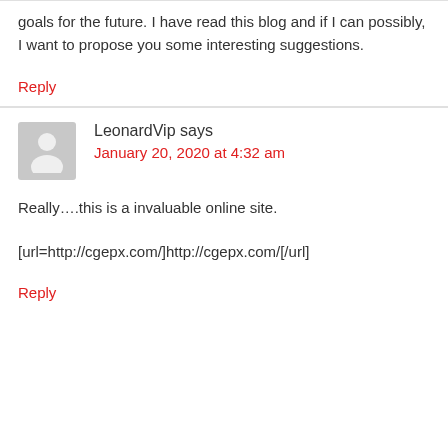goals for the future. I have read this blog and if I can possibly, I want to propose you some interesting suggestions.
Reply
LeonardVip says
January 20, 2020 at 4:32 am
Really….this is a invaluable online site.
[url=http://cgepx.com/]http://cgepx.com/[/url]
Reply